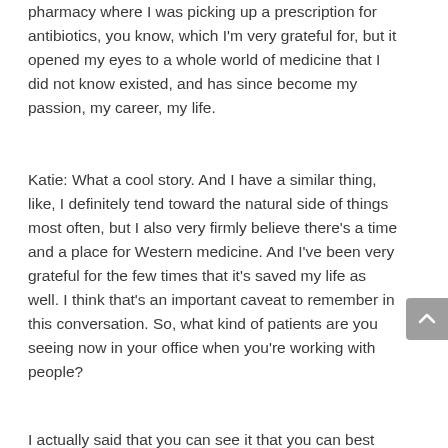pharmacy where I was picking up a prescription for antibiotics, you know, which I'm very grateful for, but it opened my eyes to a whole world of medicine that I did not know existed, and has since become my passion, my career, my life.
Katie: What a cool story. And I have a similar thing, like, I definitely tend toward the natural side of things most often, but I also very firmly believe there's a time and a place for Western medicine. And I've been very grateful for the few times that it's saved my life as well. I think that's an important caveat to remember in this conversation. So, what kind of patients are you seeing now in your office when you're working with people?
I actually said that you can see it that you can best kind